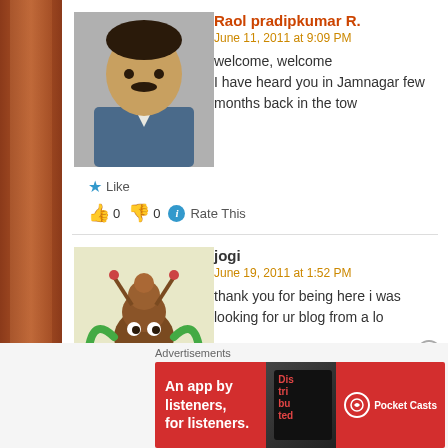[Figure (photo): Profile photo of a man in a suit]
Raol pradipkumar R.
June 11, 2011 at 9:09 PM
welcome, welcome
I have heard you in Jamnagar few months back in the tow
★ Like
👍 0 👎 0 ℹ Rate This
[Figure (illustration): Cartoon character avatar]
jogi
June 19, 2011 at 1:52 PM
thank you for being here i was looking for ur blog from a lo
★ Like
👍 0 👎 0 ℹ Rate This
[Figure (illustration): Blue cartoon avatar]
hitesh v sonwane
June 19, 2011 at 4:24 PM
Advertisements
[Figure (screenshot): Pocket Casts advertisement banner - An app by listeners, for listeners.]